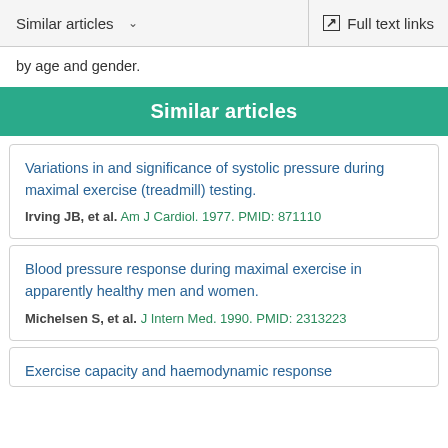Similar articles   Full text links
by age and gender.
Similar articles
Variations in and significance of systolic pressure during maximal exercise (treadmill) testing.
Irving JB, et al. Am J Cardiol. 1977. PMID: 871110
Blood pressure response during maximal exercise in apparently healthy men and women.
Michelsen S, et al. J Intern Med. 1990. PMID: 2313223
Exercise capacity and haemodynamic response